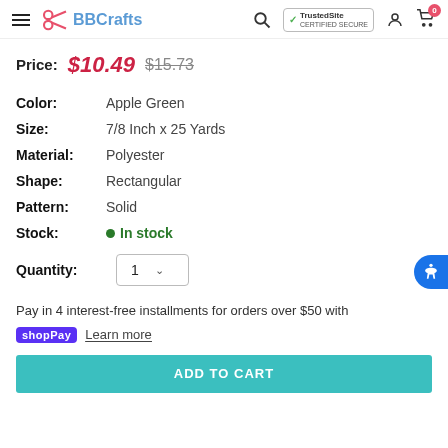BBCrafts — TrustedSite Certified Secure — Search, Account, Cart (0)
Price: $10.49  $15.73
Color: Apple Green
Size: 7/8 Inch x 25 Yards
Material: Polyester
Shape: Rectangular
Pattern: Solid
Stock: In stock
Quantity: 1
Pay in 4 interest-free installments for orders over $50 with
shop Pay  Learn more
ADD TO CART